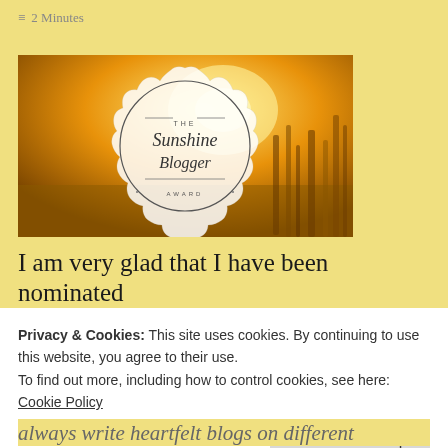≡ 2 Minutes
[Figure (illustration): The Sunshine Blogger Award badge on a warm golden field/sunset background. The badge is a white scalloped circle with 'THE Sunshine Blogger AWARD' text inside, framed by decorative lines.]
I am very glad that I have been nominated
Privacy & Cookies: This site uses cookies. By continuing to use this website, you agree to their use.
To find out more, including how to control cookies, see here:
Cookie Policy
Close and accept
always write heartfelt blogs on different